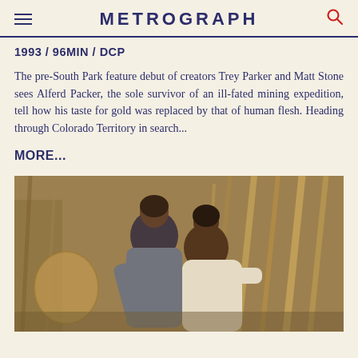METROGRAPH
1993 / 96MIN / DCP
The pre-South Park feature debut of creators Trey Parker and Matt Stone sees Alferd Packer, the sole survivor of an ill-fated mining expedition, tell how his taste for gold was replaced by that of human flesh. Heading through Colorado Territory in search...
MORE...
[Figure (photo): Two people leaning close together in an outdoor setting with dried vegetation, bamboo, and wicker basket in the background. One person wearing grey clothing leans toward another in white clothing.]